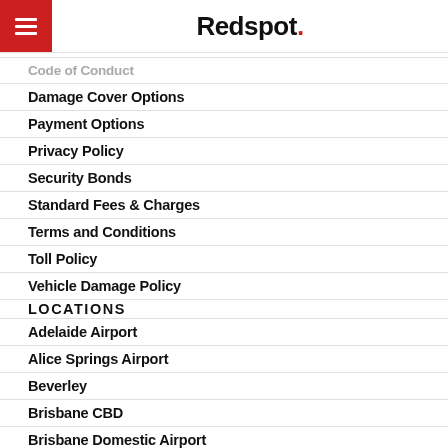Redspot.
Code of Conduct
Damage Cover Options
Payment Options
Privacy Policy
Security Bonds
Standard Fees & Charges
Terms and Conditions
Toll Policy
Vehicle Damage Policy
LOCATIONS
Adelaide Airport
Alice Springs Airport
Beverley
Brisbane CBD
Brisbane Domestic Airport